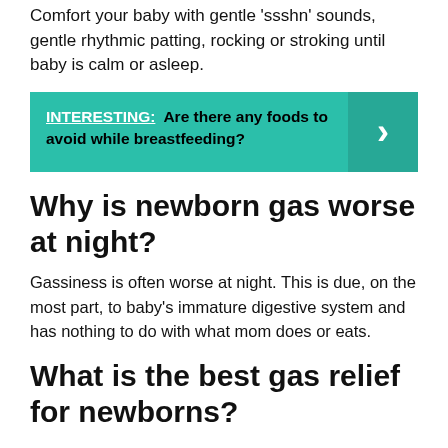Comfort your baby with gentle 'ssshn' sounds, gentle rhythmic patting, rocking or stroking until baby is calm or asleep.
INTERESTING:  Are there any foods to avoid while breastfeeding?
Why is newborn gas worse at night?
Gassiness is often worse at night. This is due, on the most part, to baby's immature digestive system and has nothing to do with what mom does or eats.
What is the best gas relief for newborns?